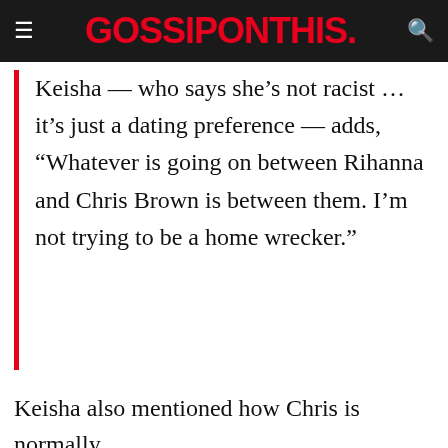GOSSIPONTHIS.
Keisha — who says she's not racist … it's just a dating preference — adds, “Whatever is going on between Rihanna and Chris Brown is between them. I’m not trying to be a home wrecker.”
Keisha also mentioned how Chris is normally a great tipper, but last weekend? Not so
[Figure (screenshot): Advertisement for HC (Home Depot or similar) showing Ashburn location, OPEN 8AM-8PM, address 44110 Ashburn Shopping Plaza 190, A..., with navigation icon]